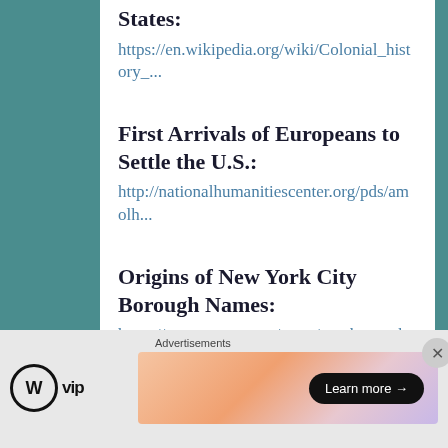States:
https://en.wikipedia.org/wiki/Colonial_history_...
First Arrivals of Europeans to Settle the U.S.:
http://nationalhumanitiescenter.org/pds/amolh...
Origins of New York City Borough Names:
https://www.amny.com/news/nyc-boroughs-names-1-32096222/
Advertisements
[Figure (logo): WordPress VIP logo and advertisement banner with Learn more button]